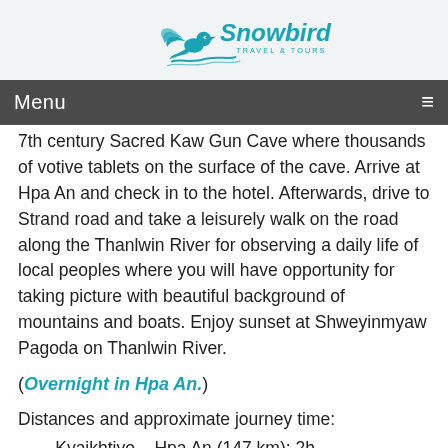[Figure (logo): Snowbird Travel & Tours logo with teal bird and text]
Menu
7th century Sacred Kaw Gun Cave where thousands of votive tablets on the surface of the cave. Arrive at Hpa An and check in to the hotel. Afterwards, drive to Strand road and take a leisurely walk on the road along the Thanlwin River for observing a daily life of local peoples where you will have opportunity for taking picture with beautiful background of mountains and boats. Enjoy sunset at Shweyinmyaw Pagoda on Thanlwin River.
(Overnight in Hpa An.)
Distances and approximate journey time:
Kyaikhtiyo – Hpa An (147 km): 2h